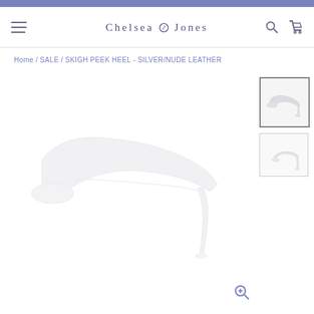Chelsea Jones - SKIGH PEEK HEEL - SILVER/NUDE LEATHER
Home / SALE / SKIGH PEEK HEEL - SILVER/NUDE LEATHER
[Figure (photo): Main product image: side view of a silver/nude leather peep-toe stiletto heel shoe on white background]
[Figure (photo): Thumbnail: side view of silver/nude leather stiletto heel (selected/active)]
[Figure (photo): Thumbnail: back/side view of silver/nude leather stiletto heel]